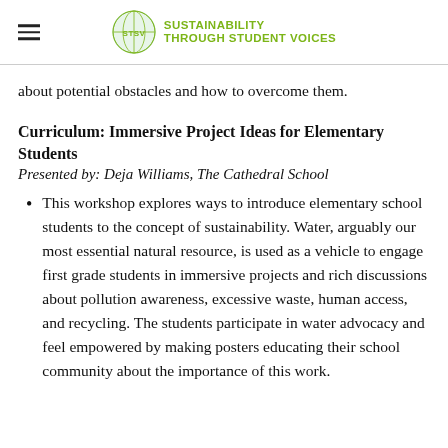SUSTAINABILITY THROUGH STUDENT VOICES
about potential obstacles and how to overcome them.
Curriculum: Immersive Project Ideas for Elementary Students
Presented by: Deja Williams, The Cathedral School
This workshop explores ways to introduce elementary school students to the concept of sustainability. Water, arguably our most essential natural resource, is used as a vehicle to engage first grade students in immersive projects and rich discussions about pollution awareness, excessive waste, human access, and recycling. The students participate in water advocacy and feel empowered by making posters educating their school community about the importance of this work.